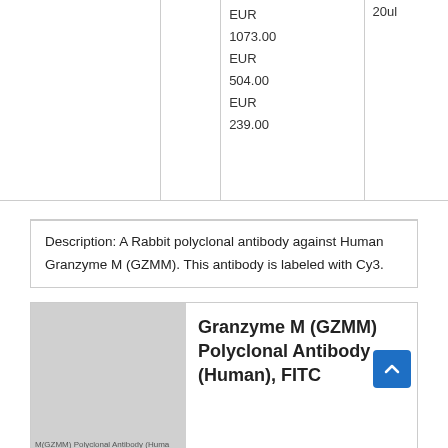|  |  | Price | Size |
| --- | --- | --- | --- |
|  |  | EUR
1073.00
EUR
504.00
EUR
239.00 | 20ul |
Description: A Rabbit polyclonal antibody against Human Granzyme M (GZMM). This antibody is labeled with Cy3.
[Figure (photo): Product image placeholder for GZMM Polyclonal Antibody (Human)]
Granzyme M (GZMM) Polyclonal Antibody (Human), FITC